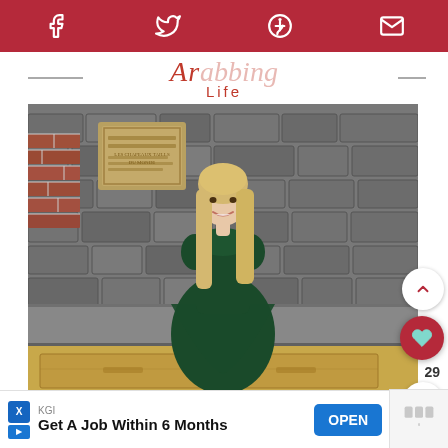Social sharing icons: Facebook, Twitter, Pinterest, Email
Life
[Figure (photo): Woman with long blonde hair wearing a dark green lace-top dress, standing in front of a stone wall with brick accents and a plaque; leaning on a stone ledge above gold/mustard drawers]
29
KGI
Get A Job Within 6 Months
OPEN